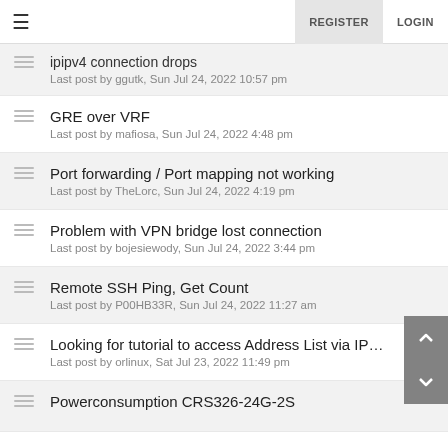REGISTER  LOGIN
ipipv4 connection drops
Last post by ggutk, Sun Jul 24, 2022 10:57 pm
GRE over VRF
Last post by mafiosa, Sun Jul 24, 2022 4:48 pm
Port forwarding / Port mapping not working
Last post by TheLorc, Sun Jul 24, 2022 4:19 pm
Problem with VPN bridge lost connection
Last post by bojesiewody, Sun Jul 24, 2022 3:44 pm
Remote SSH Ping, Get Count
Last post by P00HB33R, Sun Jul 24, 2022 11:27 am
Looking for tutorial to access Address List via IPSec VPN
Last post by orlinux, Sat Jul 23, 2022 11:49 pm
Powerconsumption CRS326-24G-2S